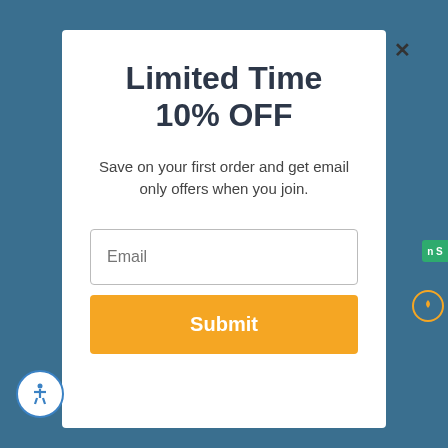Limited Time 10% OFF
Save on your first order and get email only offers when you join.
Email
Submit